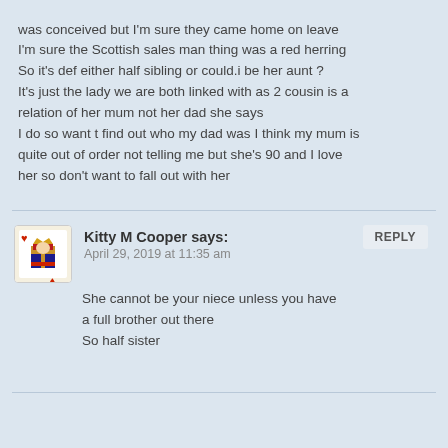was conceived but I'm sure they came home on leave
I'm sure the Scottish sales man thing was a red herring
So it's def either half sibling or could.i be her aunt ?
It's just the lady we are both linked with as 2 cousin is a relation of her mum not her dad she says
I do so want t find out who my dad was I think my mum is quite out of order not telling me but she's 90 and I love her so don't want to fall out with her
REPLY
Kitty M Cooper says:
April 29, 2019 at 11:35 am
She cannot be your niece unless you have a full brother out there
So half sister